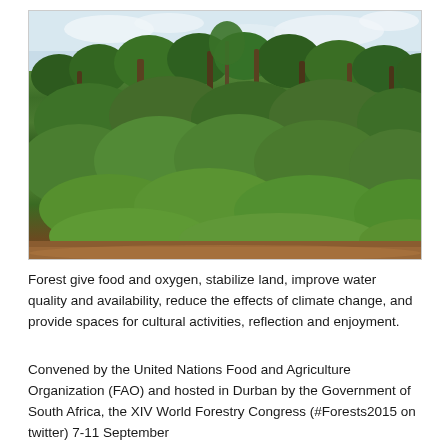[Figure (photo): A lush tropical forest scene with tall trees, dense green foliage and undergrowth, with a red dirt path visible at the bottom and a partly cloudy sky at the top.]
Forest give food and oxygen, stabilize land, improve water quality and availability, reduce the effects of climate change, and provide spaces for cultural activities, reflection and enjoyment.
Convened by the United Nations Food and Agriculture Organization (FAO) and hosted in Durban by the Government of South Africa, the XIV World Forestry Congress (#Forests2015 on twitter) 7-11 September